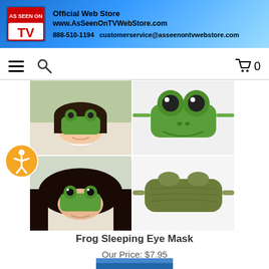[Figure (logo): As Seen On TV official web store header banner with logo, website URL www.AsSeenOnTVWebStore.com, phone 888-510-1194 and email customerservice@asseenontvwebstore.com]
[Figure (screenshot): Navigation bar with hamburger menu, search icon, and cart icon showing 0 items]
[Figure (photo): Four-panel grid of product photos showing a Frog Sleeping Eye Mask - top left: person lying down wearing frog eye mask, top right: front view of green frog eye mask with bulging eyes, bottom left: person with dark hair wearing frog eye mask, bottom right: back side of the olive/dark green eye mask]
Frog Sleeping Eye Mask
Our Price: $7.95
[Figure (photo): Partial bottom image - partially visible product, appears to be another item]